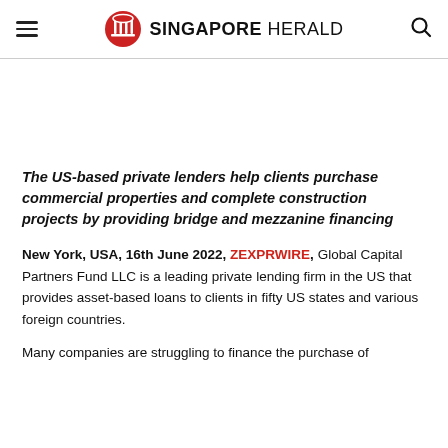SINGAPORE HERALD
The US-based private lenders help clients purchase commercial properties and complete construction projects by providing bridge and mezzanine financing
New York, USA, 16th June 2022, ZEXPRWIRE, Global Capital Partners Fund LLC is a leading private lending firm in the US that provides asset-based loans to clients in fifty US states and various foreign countries.
Many companies are struggling to finance the purchase of